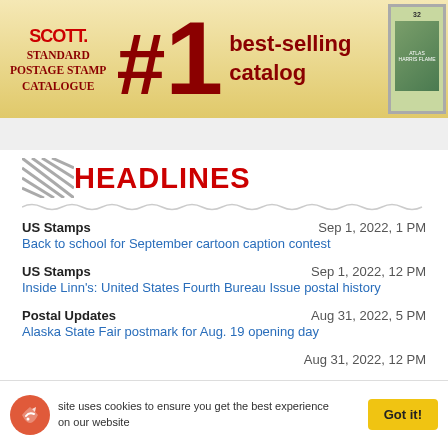[Figure (illustration): Scott Standard Postage Stamp Catalogue advertisement banner with '#1 best-selling catalog' text and stamp image]
HEADLINES
US Stamps | Sep 1, 2022, 1 PM | Back to school for September cartoon caption contest
US Stamps | Sep 1, 2022, 12 PM | Inside Linn's: United States Fourth Bureau Issue postal history
Postal Updates | Aug 31, 2022, 5 PM | Alaska State Fair postmark for Aug. 19 opening day
Aug 31, 2022, 12 PM (partial)
This site uses cookies to ensure you get the best experience on our website